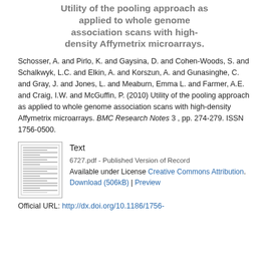Utility of the pooling approach as applied to whole genome association scans with high-density Affymetrix microarrays.
Schosser, A. and Pirlo, K. and Gaysina, D. and Cohen-Woods, S. and Schalkwyk, L.C. and Elkin, A. and Korszun, A. and Gunasinghe, C. and Gray, J. and Jones, L. and Meaburn, Emma L. and Farmer, A.E. and Craig, I.W. and McGuffin, P. (2010) Utility of the pooling approach as applied to whole genome association scans with high-density Affymetrix microarrays. BMC Research Notes 3 , pp. 274-279. ISSN 1756-0500.
[Figure (other): Thumbnail preview of PDF document 6727.pdf]
Text
6727.pdf - Published Version of Record
Available under License Creative Commons Attribution.
Download (506kB) | Preview
Official URL: http://dx.doi.org/10.1186/1756-